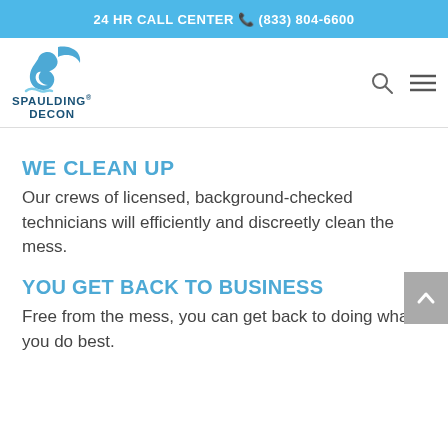24 HR CALL CENTER 📞 (833) 804-6600
[Figure (logo): Spaulding Decon logo with stylized S and hand icon, blue color]
WE CLEAN UP
Our crews of licensed, background-checked technicians will efficiently and discreetly clean the mess.
YOU GET BACK TO BUSINESS
Free from the mess, you can get back to doing what you do best.